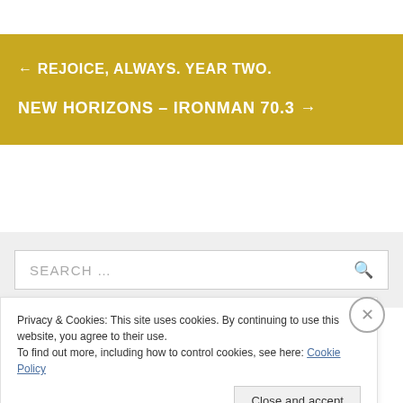← REJOICE, ALWAYS. YEAR TWO.
NEW HORIZONS – IRONMAN 70.3 →
SEARCH …
Privacy & Cookies: This site uses cookies. By continuing to use this website, you agree to their use.
To find out more, including how to control cookies, see here: Cookie Policy
Close and accept